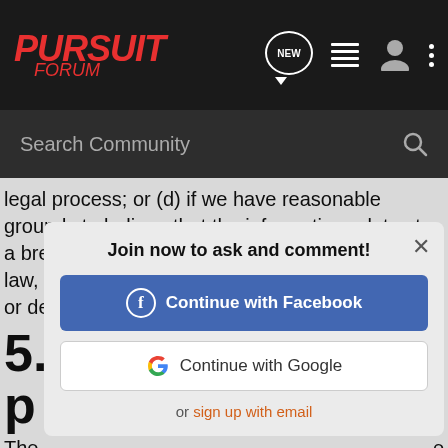[Figure (screenshot): Pursuit Forum navigation bar with logo, NEW button, list icon, user icon, and dots menu on dark background]
[Figure (screenshot): Dark search bar with 'Search Community' placeholder and magnifying glass icon]
legal process; or (d) if we have reasonable grounds to believe that the information relates to a breach of an agreement or contravention of a law, or to protect the personal safety of our users or defend our rights or property.
5.
p
The e imp > we
cannot and do not guarantee the security of your personal information. We urge you to take steps to keep your personal information safe, such as choosing a strong password and keeping
[Figure (screenshot): Modal dialog: 'Join now to ask and comment!' with Continue with Facebook button, Continue with Google button, and 'or sign up with email' link]